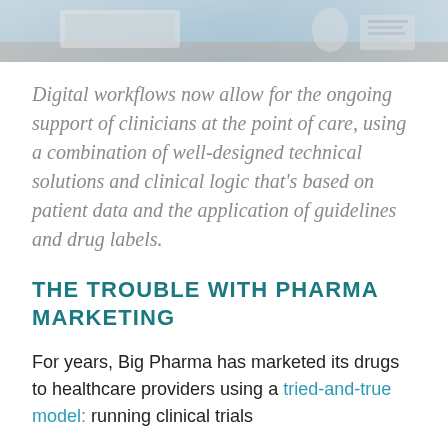[Figure (photo): Partial photograph of a workspace with medical or office items on a desk, cropped at top of page]
Digital workflows now allow for the ongoing support of clinicians at the point of care, using a combination of well-designed technical solutions and clinical logic that’s based on patient data and the application of guidelines and drug labels.
THE TROUBLE WITH PHARMA MARKETING
For years, Big Pharma has marketed its drugs to healthcare providers using a tried-and-true model: running clinical trials